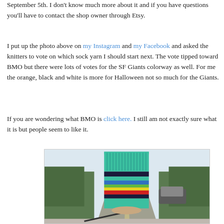September 5th. I don't know much more about it and if you have questions you'll have to contact the shop owner through Etsy.
I put up the photo above on my Instagram and my Facebook and asked the knitters to vote on which sock yarn I should start next. The vote tipped toward BMO but there were lots of votes for the SF Giants colorway as well. For me the orange, black and white is more for Halloween not so much for the Giants.
If you are wondering what BMO is click here. I still am not exactly sure what it is but people seem to like it.
[Figure (photo): A photo of a colorful knitted sock in progress being held up in front of a car windshield view of a highway with trees on both sides. The sock has horizontal stripes in teal/green, dark navy, blue, green, yellow, and red colors.]